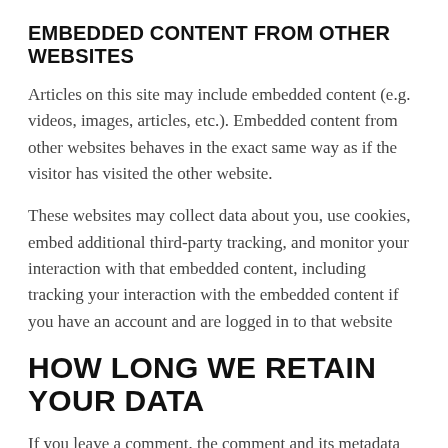EMBEDDED CONTENT FROM OTHER WEBSITES
Articles on this site may include embedded content (e.g. videos, images, articles, etc.). Embedded content from other websites behaves in the exact same way as if the visitor has visited the other website.
These websites may collect data about you, use cookies, embed additional third-party tracking, and monitor your interaction with that embedded content, including tracking your interaction with the embedded content if you have an account and are logged in to that website
HOW LONG WE RETAIN YOUR DATA
If you leave a comment, the comment and its metadata are retained indefinitely. This is so we can recognize and approve any follow-up comments automatically instead